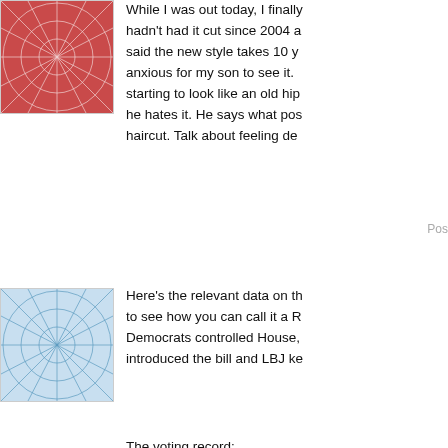[Figure (illustration): Red/pink abstract spider-web or starburst pattern on a reddish background, square avatar image]
While I was out today, I finally hadn't had it cut since 2004 a said the new style takes 10 y anxious for my son to see it. starting to look like an old hip he hates it. He says what pos haircut. Talk about feeling de
Post
[Figure (illustration): Blue/teal abstract spider-web or starburst pattern on a light blue background, square avatar image]
Here's the relevant data on th to see how you can call it a R Democrats controlled House, introduced the bill and LBJ ke
The voting record:
The original House version:
Southern Democrats: 7-87 (7
Southern Republicans: 0-10
Northern Democrats: 145-9 (
Northern Republicans: 138-2
The Senate version: